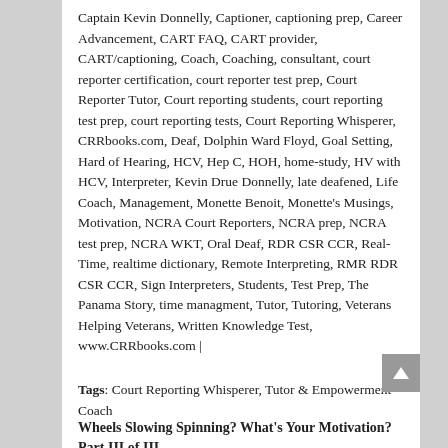Captain Kevin Donnelly, Captioner, captioning prep, Career Advancement, CART FAQ, CART provider, CART/captioning, Coach, Coaching, consultant, court reporter certification, court reporter test prep, Court Reporter Tutor, Court reporting students, court reporting test prep, court reporting tests, Court Reporting Whisperer, CRRbooks.com, Deaf, Dolphin Ward Floyd, Goal Setting, Hard of Hearing, HCV, Hep C, HOH, home-study, HV with HCV, Interpreter, Kevin Drue Donnelly, late deafened, Life Coach, Management, Monette Benoit, Monette's Musings, Motivation, NCRA Court Reporters, NCRA prep, NCRA test prep, NCRA WKT, Oral Deaf, RDR CSR CCR, Real-Time, realtime dictionary, Remote Interpreting, RMR RDR CSR CCR, Sign Interpreters, Students, Test Prep, The Panama Story, time managment, Tutor, Tutoring, Veterans Helping Veterans, Written Knowledge Test, www.CRRbooks.com |
Tags: Court Reporting Whisperer, Tutor & Empowerment Coach
Wheels Slowing Spinning? What's Your Motivation? Part III of III